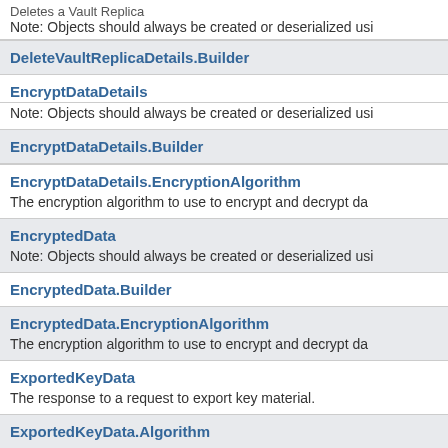Deletes a Vault Replica
Note: Objects should always be created or deserialized usi
DeleteVaultReplicaDetails.Builder
EncryptDataDetails
Note: Objects should always be created or deserialized usi
EncryptDataDetails.Builder
EncryptDataDetails.EncryptionAlgorithm
The encryption algorithm to use to encrypt and decrypt da
EncryptedData
Note: Objects should always be created or deserialized usi
EncryptedData.Builder
EncryptedData.EncryptionAlgorithm
The encryption algorithm to use to encrypt and decrypt da
ExportedKeyData
The response to a request to export key material.
ExportedKeyData.Algorithm